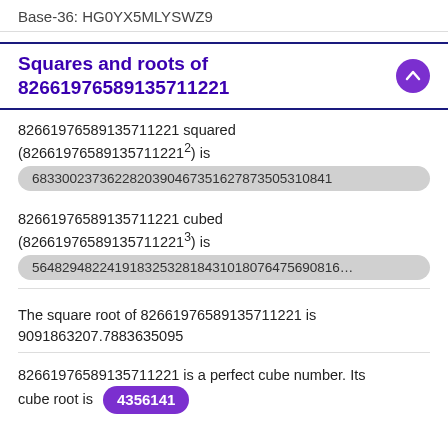Base-36: HG0YX5MLYSWZ9
Squares and roots of 82661976589135711221
82661976589135711221 squared (82661976589135711221²) is
6833002373622820390467351627873505310841
82661976589135711221 cubed (82661976589135711221³) is
56482948224191832532818431018076475690816…
The square root of 82661976589135711221 is 9091863207.7883635095
82661976589135711221 is a perfect cube number. Its cube root is 4356141